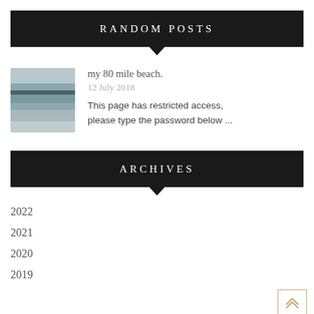RANDOM POSTS
[Figure (photo): Thumbnail image of a beach scene with horizontal stripes of sea and sky in muted blue and grey tones.]
my 80 mile beach.
12 July 2018
This page has restricted access, please type the password below ...
ARCHIVES
2022
2021
2020
2019